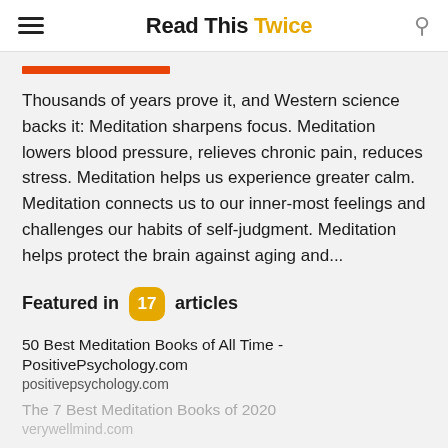Read This Twice
Thousands of years prove it, and Western science backs it: Meditation sharpens focus. Meditation lowers blood pressure, relieves chronic pain, reduces stress. Meditation helps us experience greater calm. Meditation connects us to our inner-most feelings and challenges our habits of self-judgment. Meditation helps protect the brain against aging and...
Featured in 17 articles
50 Best Meditation Books of All Time - PositivePsychology.com
positivepsychology.com
The 7 Best Meditation Books of 2020
verywellmind.com
Show All